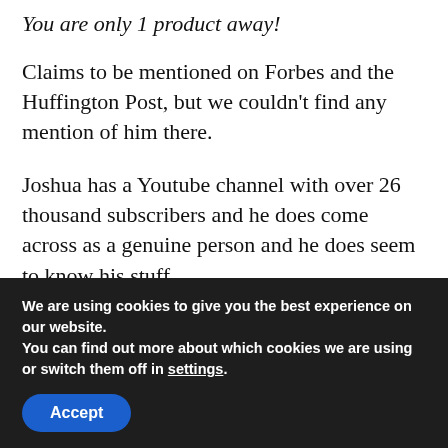You are only 1 product away!
Claims to be mentioned on Forbes and the Huffington Post, but we couldn't find any mention of him there.
Joshua has a Youtube channel with over 26 thousand subscribers and he does come across as a genuine person and he does seem to know his stuff.
We are using cookies to give you the best experience on our website.
You can find out more about which cookies we are using or switch them off in settings.
Accept